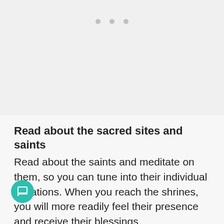[Figure (other): Light gray image placeholder area at the top of the page with three gray dots indicating a loading or carousel indicator]
Read about the sacred sites and saints
Read about the saints and meditate on them, so you can tune into their individual vibrations. When you reach the shrines, you will more readily feel their presence and receive their blessings.
Find quiet areas for meditation and prayer